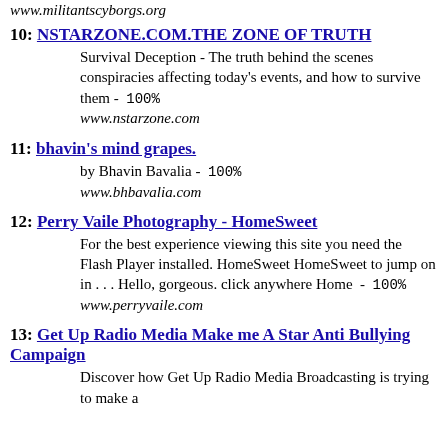www.militantscyborgs.org
10: NSTARZONE.COM.THE ZONE OF TRUTH - Survival Deception - The truth behind the scenes conspiracies affecting today's events, and how to survive them - 100% www.nstarzone.com
11: bhavin's mind grapes. - by Bhavin Bavalia - 100% www.bhbavalia.com
12: Perry Vaile Photography - HomeSweet - For the best experience viewing this site you need the Flash Player installed. HomeSweet HomeSweet to jump on in . . . Hello, gorgeous. click anywhere Home - 100% www.perryvaile.com
13: Get Up Radio Media Make me A Star Anti Bullying Campaign - Discover how Get Up Radio Media Broadcasting is trying to make a